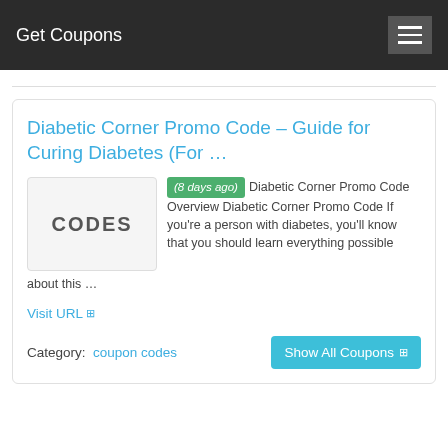Get Coupons
Diabetic Corner Promo Code – Guide for Curing Diabetes (For …
(8 days ago) Diabetic Corner Promo Code Overview Diabetic Corner Promo Code If you're a person with diabetes, you'll know that you should learn everything possible about this …
Visit URL
Category:  coupon codes
Show All Coupons